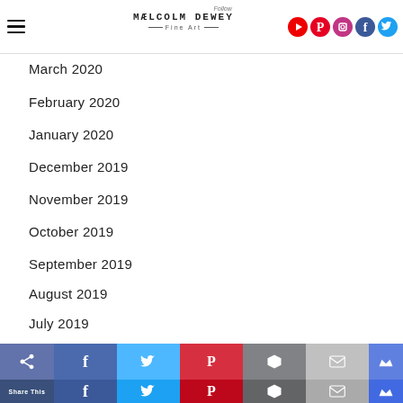Malcolm Dewey Fine Art
March 2020
February 2020
January 2020
December 2019
November 2019
October 2019
September 2019
August 2019
July 2019
June 2019
May 2019
Share This — Facebook, Twitter, Pinterest, Buffer, Email, Kindle